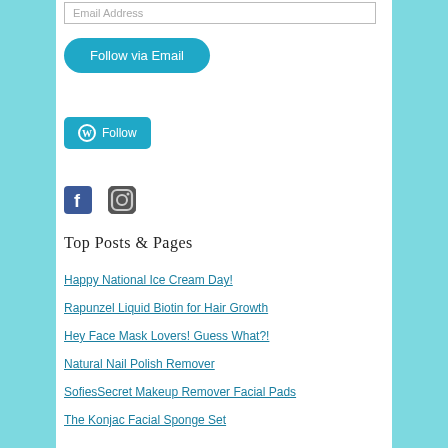[Figure (other): Email address input field at top of page]
[Figure (other): Follow via Email button, teal rounded rectangle]
[Figure (other): WordPress Follow button, teal with W icon]
[Figure (other): Social media icons: Facebook and Instagram in dark blue]
Top Posts & Pages
Happy National Ice Cream Day!
Rapunzel Liquid Biotin for Hair Growth
Hey Face Mask Lovers! Guess What?!
Natural Nail Polish Remover
SofiesSecret Makeup Remover Facial Pads
The Konjac Facial Sponge Set